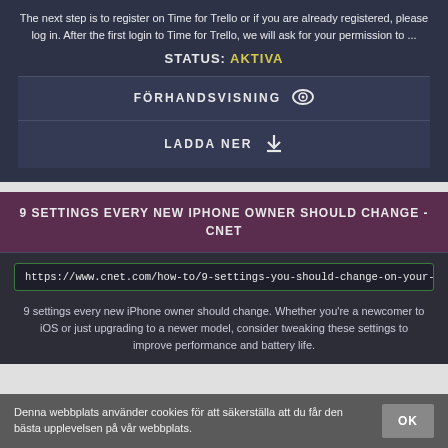The next step is to register on Time for Trello or if you are already registered, please log in. After the first login to Time for Trello, we will ask for your permission to ...
STATUS: AKTIVA
FÖRHANDSVISNING
LADDA NER
9 SETTINGS EVERY NEW IPHONE OWNER SHOULD CHANGE - CNET
https://www.cnet.com/how-to/9-settings-you-should-change-on-your-new-...
9 settings every new iPhone owner should change. Whether you're a newcomer to iOS or just upgrading to a newer model, consider tweaking these settings to improve performance and battery life.
Denna webbplats använder cookies för att säkerställa att du får den bästa upplevelsen på vår webbplats.